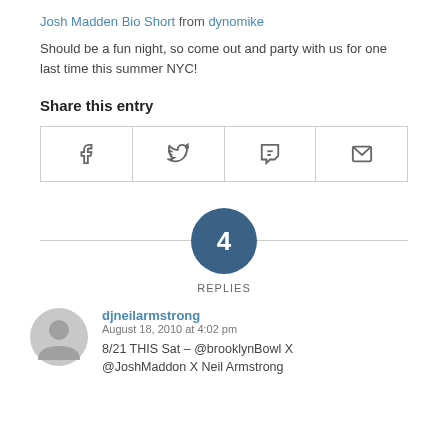Josh Madden Bio Short from dynomike
Should be a fun night, so come out and party with us for one last time this summer NYC!
Share this entry
| f | twitter | t | mail |
| --- | --- | --- | --- |
4 REPLIES
djneilarmstrong
August 18, 2010 at 4:02 pm
8/21 THIS Sat – @brooklynBowl X
@JoshMaddon X Neil Armstrong